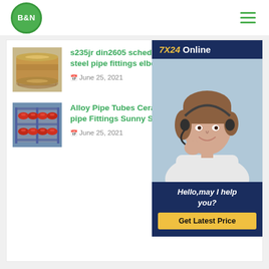[Figure (logo): B&N logo — green circle with white bold text B&N]
[Figure (illustration): Hamburger menu icon — three horizontal green lines]
[Figure (photo): Photo of three golden/bronze steel pipes bundled together]
s235jr din2605 sched steel pipe fittings elbo
June 25, 2021
[Figure (photo): Photo of red alloy pipe tubes stacked on metal racks]
Alloy Pipe Tubes Cera pipe Fittings Sunny S
June 25, 2021
[Figure (illustration): Chat widget overlay — dark navy background, 7X24 Online header in yellow/white, photo of smiling woman with headset, text Hello,may I help you?, yellow Get Latest Price button]